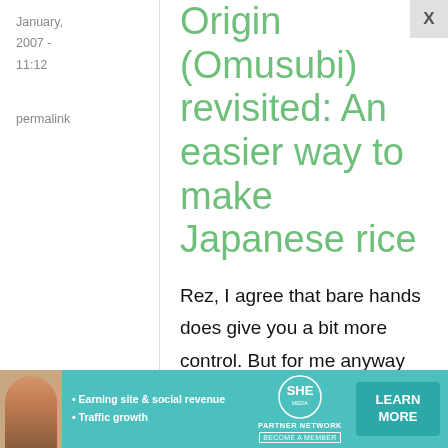January, 2007 - 11:12
permalink
Origin (Omusubi) revisited: An easier way to make Japanese rice
Rez, I agree that bare hands does give you a bit more control. But for me anyway the
[Figure (infographic): SHE Media Partner Network advertisement banner with woman photo, bullet points about earning site & social revenue and traffic growth, SHE logo, and LEARN MORE button]